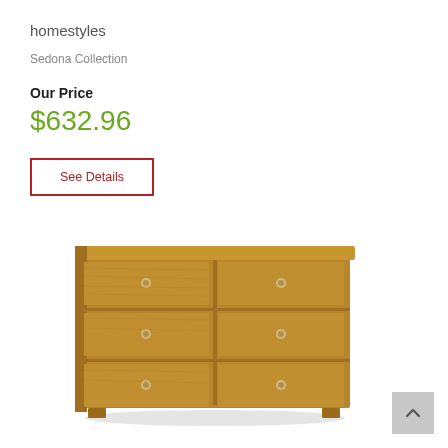homestyles
Sedona Collection
Our Price
$632.96
See Details
[Figure (photo): A wooden 6-drawer double dresser in a medium brown finish with metal knob hardware, shown on a white background.]